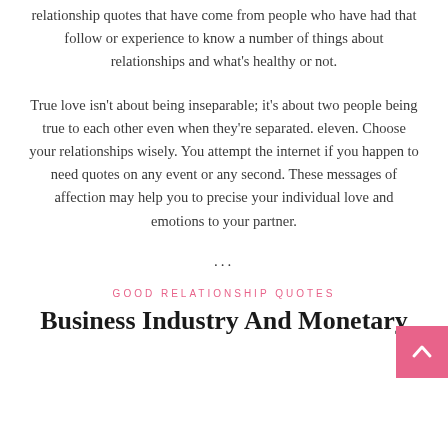relationship quotes that have come from people who have had that follow or experience to know a number of things about relationships and what's healthy or not.
True love isn't about being inseparable; it's about two people being true to each other even when they're separated. eleven. Choose your relationships wisely. You attempt the internet if you happen to need quotes on any event or any second. These messages of affection may help you to precise your individual love and emotions to your partner.
...
GOOD RELATIONSHIP QUOTES
Business Industry And Monetary